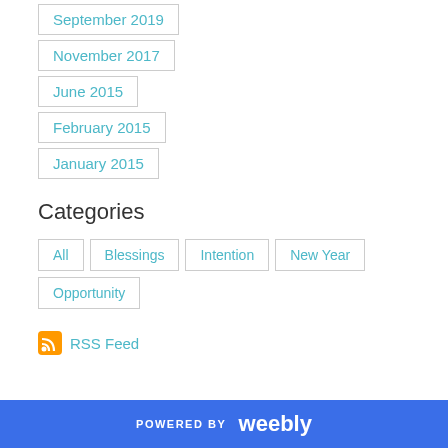September 2019
November 2017
June 2015
February 2015
January 2015
Categories
All
Blessings
Intention
New Year
Opportunity
RSS Feed
POWERED BY weebly